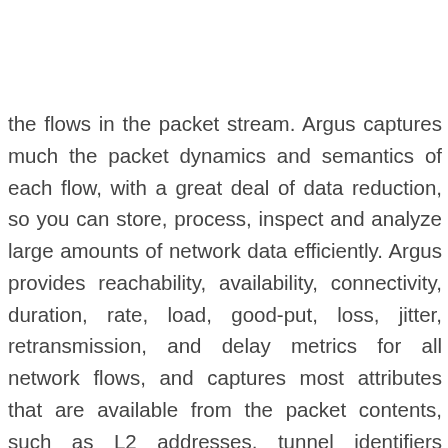the flows in the packet stream. Argus captures much the packet dynamics and semantics of each flow, with a great deal of data reduction, so you can store, process, inspect and analyze large amounts of network data efficiently. Argus provides reachability, availability, connectivity, duration, rate, load, good-put, loss, jitter, retransmission, and delay metrics for all network flows, and captures most attributes that are available from the packet contents, such as L2 addresses, tunnel identifiers (MPLS, GRE, ESP, etc...), protocol ids, SAP's, hop-count, options, L4 transport identification (RTP, RTCP detection), host flow control indications, etc.